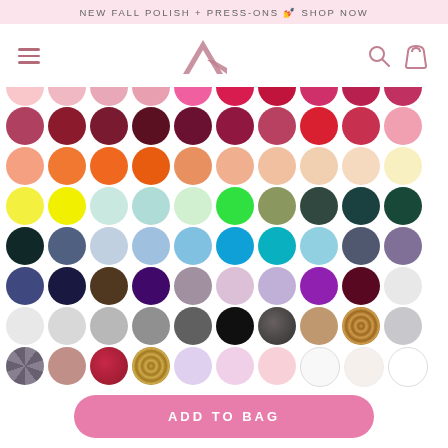NEW FALL POLISH + PRESS-ONS 💅 SHOP NOW
[Figure (screenshot): Navigation bar with hamburger menu, logo (stylized A), search icon, and shopping bag icon]
[Figure (infographic): Color swatch grid showing rows of circular nail polish color swatches in various shades: pinks, reds, oranges, yellows, greens, teals, blues, purples, browns, grays, blacks, nudes, glitters, and whites]
ADD TO BAG